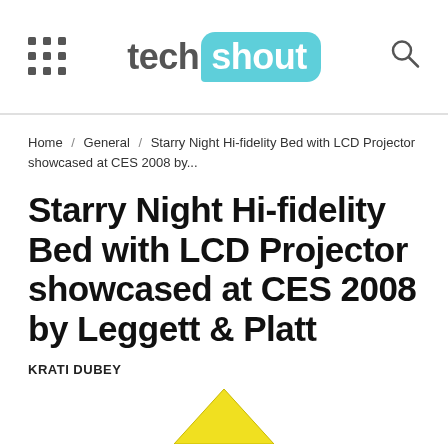tech shout
Home / General / Starry Night Hi-fidelity Bed with LCD Projector showcased at CES 2008 by...
Starry Night Hi-fidelity Bed with LCD Projector showcased at CES 2008 by Leggett & Platt
KRATI DUBEY
[Figure (illustration): Partial yellow triangle shape visible at the bottom of the page]